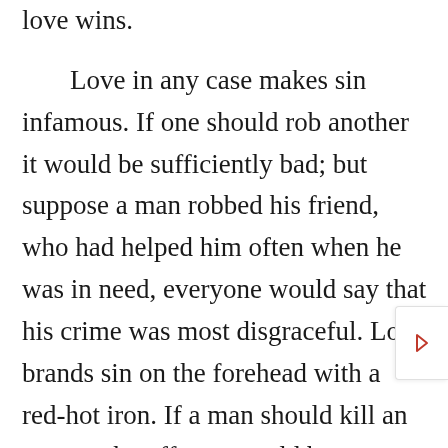love wins.

Love in any case makes sin infamous. If one should rob another it would be sufficiently bad; but suppose a man robbed his friend, who had helped him often when he was in need, everyone would say that his crime was most disgraceful. Love brands sin on the forehead with a red-hot iron. If a man should kill an enemy, the offence would be grievous; but if he slew his father, to whom he owes his life, or his mother, on whose breasts he was nursed in infancy, then all would cry out